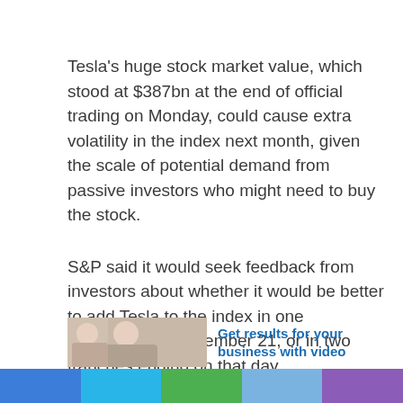Tesla's huge stock market value, which stood at $387bn at the end of official trading on Monday, could cause extra volatility in the index next month, given the scale of potential demand from passive investors who might need to buy the stock.
S&P said it would seek feedback from investors about whether it would be better to add Tesla to the index in one instalment on December 21, or in two tranches ending on that day.
Source link
[Figure (other): Advertisement banner with a person image and text 'Get results for your business with video']
Social media share bar with blue, light blue, green, periwinkle, and purple color blocks